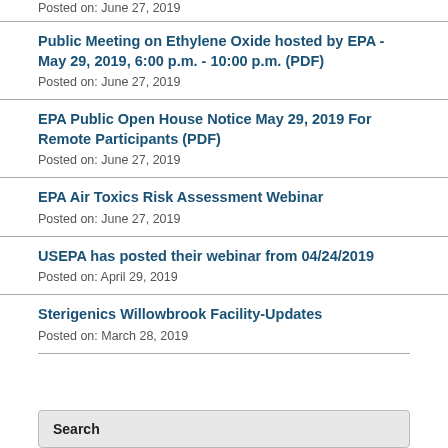Posted on: June 27, 2019
Public Meeting on Ethylene Oxide hosted by EPA - May 29, 2019, 6:00 p.m. - 10:00 p.m. (PDF)
Posted on: June 27, 2019
EPA Public Open House Notice May 29, 2019 For Remote Participants (PDF)
Posted on: June 27, 2019
EPA Air Toxics Risk Assessment Webinar
Posted on: June 27, 2019
USEPA has posted their webinar from 04/24/2019
Posted on: April 29, 2019
Sterigenics Willowbrook Facility-Updates
Posted on: March 28, 2019
Search